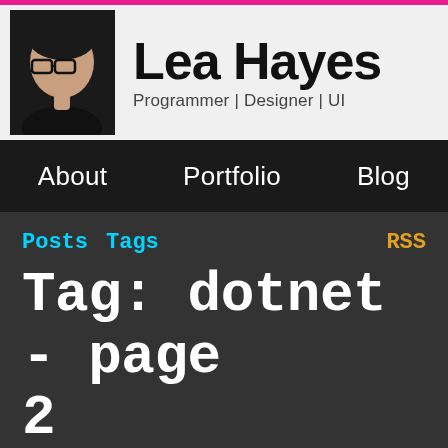Lea Hayes — Programmer | Designer | UI
About   Portfolio   Blog
Posts  Tags  RSS
Tag: dotnet - page 2
Aug 25, 2015
Custom editor controls in